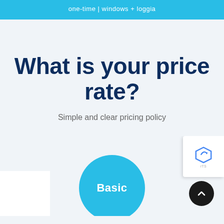one-time | windows + loggia
What is your price rate?
Simple and clear pricing policy
Basic